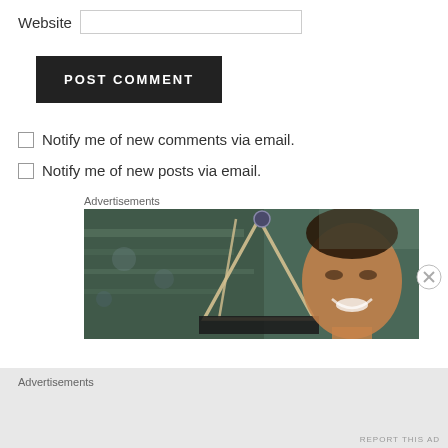Website
POST COMMENT
Notify me of new comments via email.
Notify me of new posts via email.
Advertisements
[Figure (photo): A smiling woman seen through a glass window/door, with a triangular shaped sign (open sign) hanging in front of her. Background shows a blurred shop interior.]
Advertisements
REPORT THIS AD